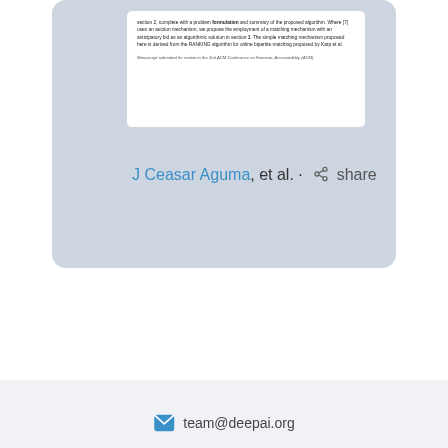section 2, complete with a problem formulation and summary of the proposed algorithm. Where [7] uses an auction mechanism, we propose the employment of a matching mechanism with an anticipatory bid as an algorithmic solution in section 3. The simple matching mechanism proposed here is derived from the RANKING algorithm for online bipartite matching proposed by Karp et al.
Manuscript submitted for review to the 2nd ACM Conference on Fairness, Accountability (ACM).
J Ceasar Aguma, et al. · share
team@deepai.org